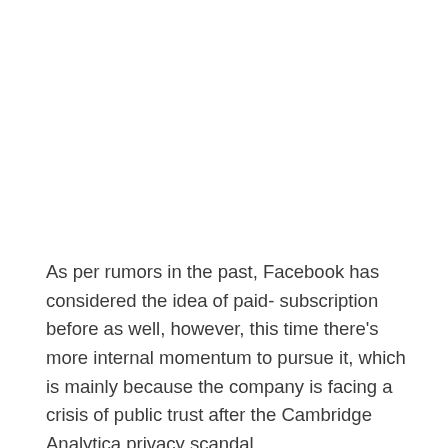As per rumors in the past, Facebook has considered the idea of paid- subscription before as well, however, this time there's more internal momentum to pursue it, which is mainly because the company is facing a crisis of public trust after the Cambridge Analytica privacy scandal.